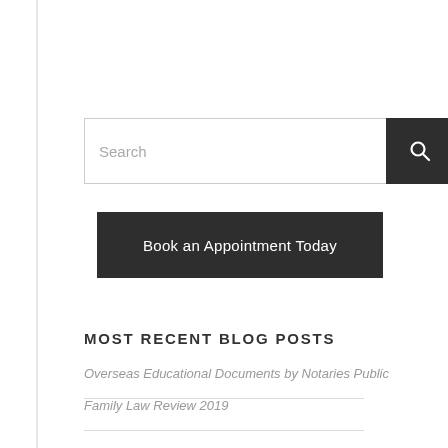[Figure (screenshot): Search bar with text input field and dark search button with magnifying glass icon]
[Figure (screenshot): Dark button labeled 'Book an Appointment Today']
MOST RECENT BLOG POSTS
Overseas Educational Documents by Notaries Public
Family Law Review 2019